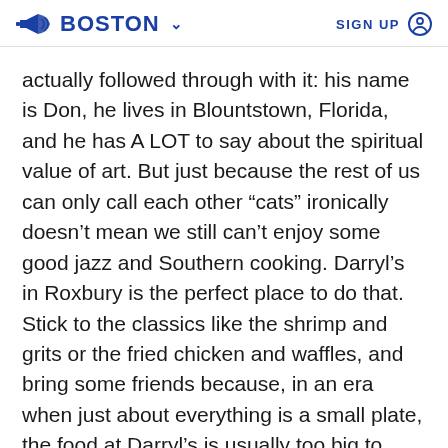BOSTON  SIGN UP
actually followed through with it: his name is Don, he lives in Blountstown, Florida, and he has A LOT to say about the spiritual value of art. But just because the rest of us can only call each other “cats” ironically doesn’t mean we still can’t enjoy some good jazz and Southern cooking. Darryl’s in Roxbury is the perfect place to do that. Stick to the classics like the shrimp and grits or the fried chicken and waffles, and bring some friends because, in an era when just about everything is a small plate, the food at Darryl’s is usually too big to finish by yourself.